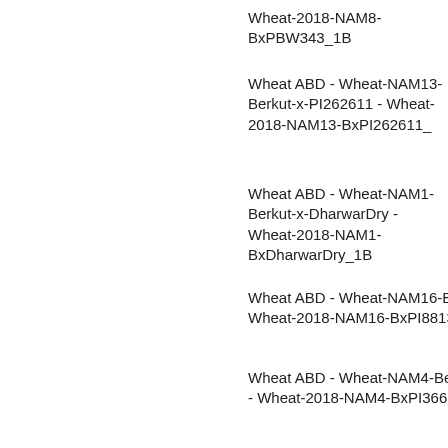Wheat-2018-NAM8-BxPBW343_1B
Wheat ABD - Wheat-NAM13-Berkut-x-PI262611 - Wheat-2018-NAM13-BxPI262611_
Wheat ABD - Wheat-NAM1-Berkut-x-DharwarDry - Wheat-2018-NAM1-BxDharwarDry_1B
Wheat ABD - Wheat-NAM16-Berkut-x-PI88 Wheat-2018-NAM16-BxPI8813_1B
Wheat ABD - Wheat-NAM4-Berkut-x-PI366 - Wheat-2018-NAM4-BxPI366716_1B
Wheat ABD - Wheat-NAM13-Berkut-x-PI262611 - Wheat-2018-NAM13-BxPI262611_
Wheat ABD - Wheat-NAM24-Berkut-x-PI192147 - Wheat-2018-NAM24-BxPI192147_